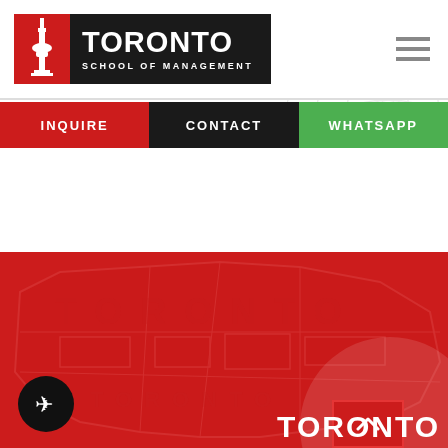[Figure (logo): Toronto School of Management logo with CN Tower icon in red box and white text on dark background]
INQUIRE | CONTACT | WHATSAPP
[Figure (illustration): Globe/building wireframe graphic in top right of white header area]
[Figure (map): Red section background with Toronto city map outline overlay in darker red, showing Toronto neighborhood districts]
TORONTO